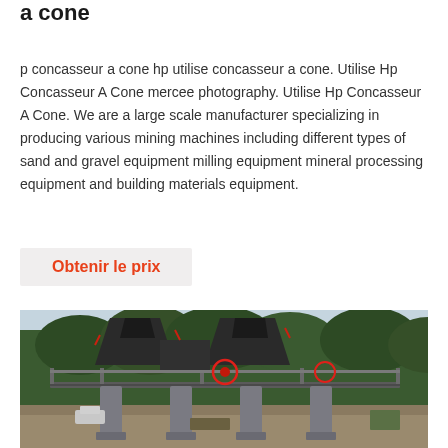a cone
p concasseur a cone hp utilise concasseur a cone. Utilise Hp Concasseur A Cone mercee photography. Utilise Hp Concasseur A Cone. We are a large scale manufacturer specializing in producing various mining machines including different types of sand and gravel equipment milling equipment mineral processing equipment and building materials equipment.
Obtenir le prix
[Figure (photo): Large industrial cone crusher machine mounted on a concrete and steel platform structure, outdoors with trees and a construction site in the background. The equipment is dark grey/black with red accent markings including a circled component.]